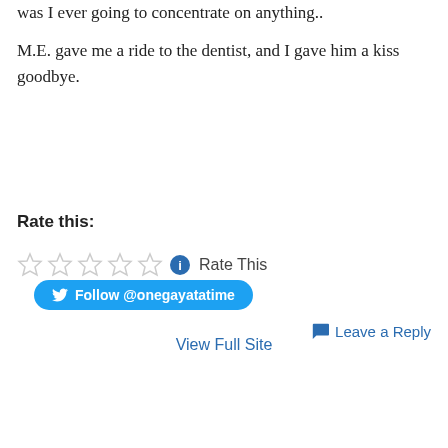was I ever going to concentrate on anything..
M.E. gave me a ride to the dentist, and I gave him a kiss goodbye.
Follow @onegayatatime
Rate this:
Rate This
May 18, 2012
Leave a Reply
View Full Site